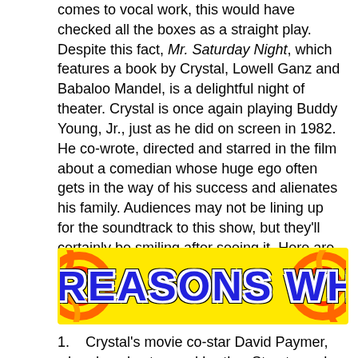comes to vocal work, this would have checked all the boxes as a straight play. Despite this fact, Mr. Saturday Night, which features a book by Crystal, Lowell Ganz and Babaloo Mandel, is a delightful night of theater. Crystal is once again playing Buddy Young, Jr., just as he did on screen in 1982. He co-wrote, directed and starred in the film about a comedian whose huge ego often gets in the way of his success and alienates his family. Audiences may not be lining up for the soundtrack to this show, but they'll certainly be smiling after seeing it. Here are five reasons why:
[Figure (illustration): A colorful banner graphic with yellow background and orange swirl/circle decorations reading '5 REASONS WHY' in large bold blue letters with white outline on black outline]
1.    Crystal's movie co-star David Paymer, who played estranged brother Stan to such acclaim that he was nominated for an Oscar, is once